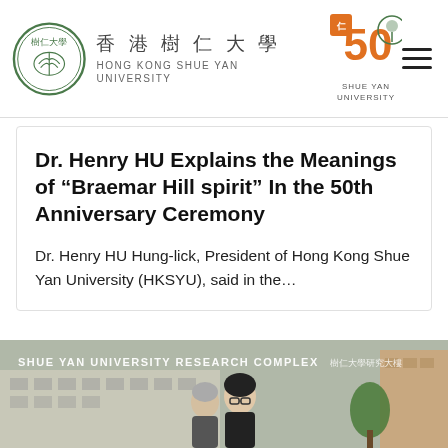Hong Kong Shue Yan University
Dr. Henry HU Explains the Meanings of “Braemar Hill spirit” In the 50th Anniversary Ceremony
Dr. Henry HU Hung-lick, President of Hong Kong Shue Yan University (HKSYU), said in the…
[Figure (photo): Photo of two people standing in front of the Shue Yan University Research Complex building]